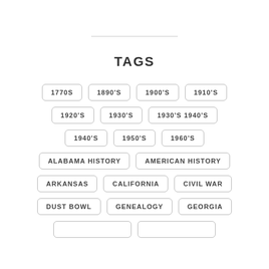TAGS
1770S
1890'S
1900'S
1910'S
1920'S
1930'S
1930'S 1940'S
1940'S
1950'S
1960'S
ALABAMA HISTORY
AMERICAN HISTORY
ARKANSAS
CALIFORNIA
CIVIL WAR
DUST BOWL
GENEALOGY
GEORGIA